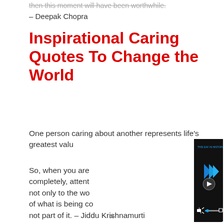then this moment will have been worthwhile. – Deepak Chopra
Inspirational Caring Quotes To Change the World
One person caring about another represents life's greatest valu…
[Figure (screenshot): A video player overlay showing 'THIS DAY IN HISTORY' with a blue logo, play button, mute icon, progress bar, and fullscreen button on a dark background.]
So, when you are listening to somebody completely, attentively, then you are listening not only to the words, but also to the feeling of what is being conveyed, to the whole of it, not part of it. – Jiddu Krishnamurti
×